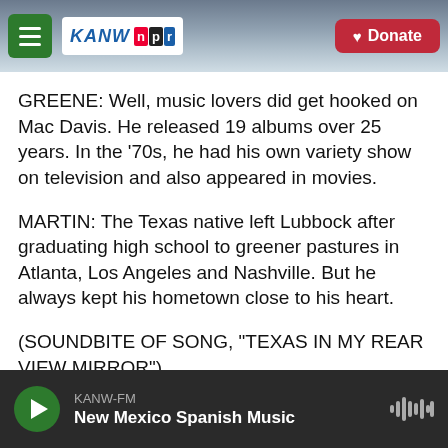[Figure (screenshot): KANW NPR radio station website header with hamburger menu, KANW NPR logo, mountain/sky background, and red Donate button]
GREENE: Well, music lovers did get hooked on Mac Davis. He released 19 albums over 25 years. In the '70s, he had his own variety show on television and also appeared in movies.
MARTIN: The Texas native left Lubbock after graduating high school to greener pastures in Atlanta, Los Angeles and Nashville. But he always kept his hometown close to his heart.
(SOUNDBITE OF SONG, "TEXAS IN MY REAR VIEW MIRROR")
[Figure (screenshot): Audio player bar at bottom: green play button, KANW-FM station label, New Mexico Spanish Music title, waveform icon on right]